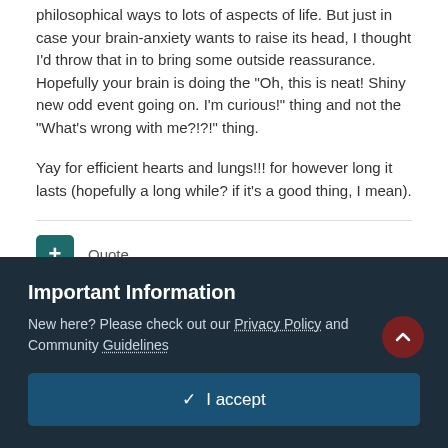philosophical ways to lots of aspects of life. But just in case your brain-anxiety wants to raise its head, I thought I'd throw that in to bring some outside reassurance. Hopefully your brain is doing the "Oh, this is neat! Shiny new odd event going on. I'm curious!" thing and not the "What's wrong with me?!?!" thing.
Yay for efficient hearts and lungs!!! for however long it lasts (hopefully a long while? if it's a good thing, I mean).
Quote
Important Information
New here? Please check out our Privacy Policy and Community Guidelines
✔ I accept